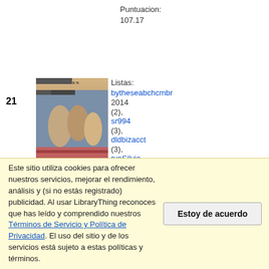Puntuacion:
107.17
21
[Figure (photo): Book cover of Mujercitas (Little Women) by Louisa May Alcott, showing a classic illustrated scene]
Listas:
bytheseabchcmbr
2014
(2),
sr994
(3),
dldbizacct
(3),
ryaSilvia
(4),
pgturner
(4),
amz310783
Mujercitas
por
Louisa May Alcott
24,720 miembros,
Este sitio utiliza cookies para ofrecer nuestros servicios, mejorar el rendimiento, análisis y (si no estás registrado) publicidad. Al usar LibraryThing reconoces que has leído y comprendido nuestros Términos de Servicio y Política de Privacidad. El uso del sitio y de los servicios está sujeto a estas políticas y términos.
Estoy de acuerdo